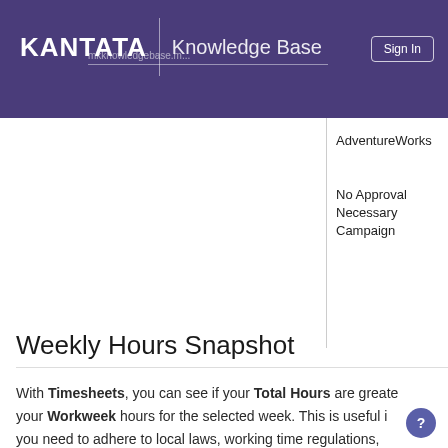KANTATA | Knowledge Base
AdventureWorks
No Approval Necessary Campaign
Weekly Hours Snapshot
With Timesheets, you can see if your Total Hours are greater than your Workweek hours for the selected week. This is useful if you need to adhere to local laws, working time regulations,